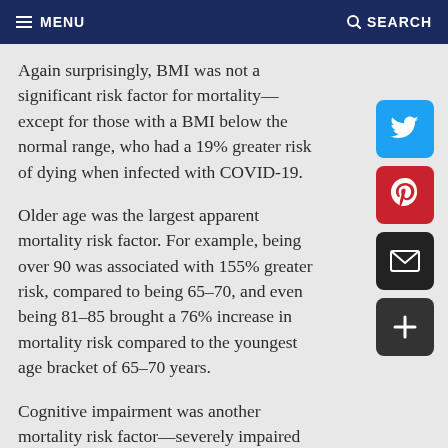MENU   SEARCH
Again surprisingly, BMI was not a significant risk factor for mortality—except for those with a BMI below the normal range, who had a 19% greater risk of dying when infected with COVID-19.
Older age was the largest apparent mortality risk factor. For example, being over 90 was associated with 155% greater risk, compared to being 65–70, and even being 81–85 brought a 76% increase in mortality risk compared to the youngest age bracket of 65–70 years.
Cognitive impairment was another mortality risk factor—severely impaired residents were 79% more likely to die of COVID-19 than those with no cognitive impairment. Similarly, severe functional impairment was associated with a 94% greater chance of mortality.